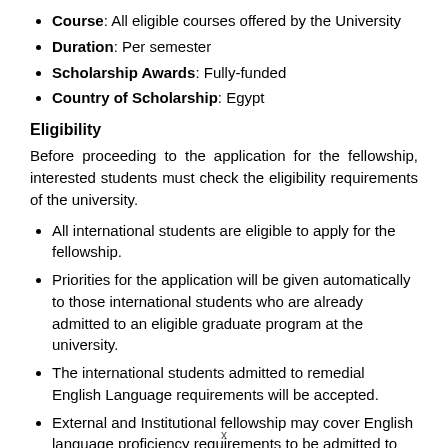Course: All eligible courses offered by the University
Duration: Per semester
Scholarship Awards: Fully-funded
Country of Scholarship: Egypt
Eligibility
Before proceeding to the application for the fellowship, interested students must check the eligibility requirements of the university.
All international students are eligible to apply for the fellowship.
Priorities for the application will be given automatically to those international students who are already admitted to an eligible graduate program at the university.
The international students admitted to remedial English Language requirements will be accepted.
External and Institutional fellowship may cover English language proficiency requirements to be admitted to the list of